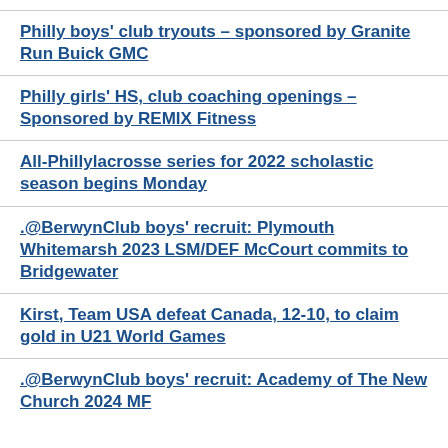Philly boys' club tryouts – sponsored by Granite Run Buick GMC
Philly girls' HS, club coaching openings – Sponsored by REMIX Fitness
All-Phillylacrosse series for 2022 scholastic season begins Monday
.@BerwynClub boys' recruit: Plymouth Whitemarsh 2023 LSM/DEF McCourt commits to Bridgewater
Kirst, Team USA defeat Canada, 12-10, to claim gold in U21 World Games
.@BerwynClub boys' recruit: Academy of The New Church 2024 MF